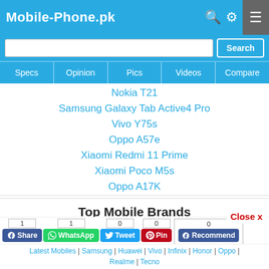Mobile-Phone.pk
Nokia T21
Samsung Galaxy Tab Active4 Pro
Vivo Y75s
Oppo A57e
Xiaomi Redmi 11 Prime
Xiaomi Poco M5s
Oppo A17K
Top Mobile Brands
Samsung Price Pakistan
Huawei Price in Pakistan
Latest Mobiles | Samsung | Huawei | Vivo | Infinix | Honor | Oppo | Realme | Tecno